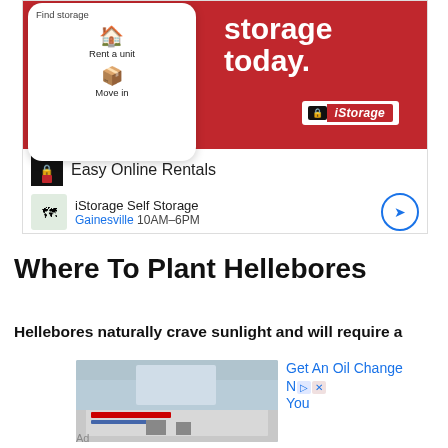[Figure (infographic): iStorage self storage advertisement banner showing a smartphone mockup with 'Find storage', 'Rent a unit', 'Move in' steps, red background with 'storage today.' tagline, iStorage logo, 'Easy Online Rentals' bar, and 'iStorage Self Storage Gainesville 10AM-6PM' location bar]
Where To Plant Hellebores
Hellebores naturally crave sunlight and will require a
[Figure (photo): Photo of a Precision Tune Auto Care or similar automotive service store building exterior]
Get An Oil Change N You
Ad